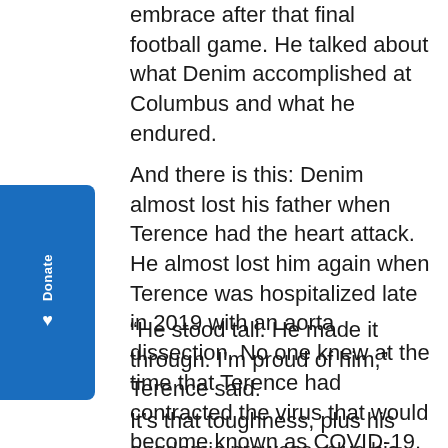embrace after that final football game. He talked about what Denim accomplished at Columbus and what he endured.
And there is this: Denim almost lost his father when Terence had the heart attack. He almost lost him again when Terence was hospitalized late in 2019 with an aorta dissection. No one knew at the time that Terence had contracted the virus that would become known as COVID-19.
“He stood tall. He made it through. I’m proud of him,” Terence said.
It’s that toughness, plus his academic prowess, plus his desire to be a leader, that